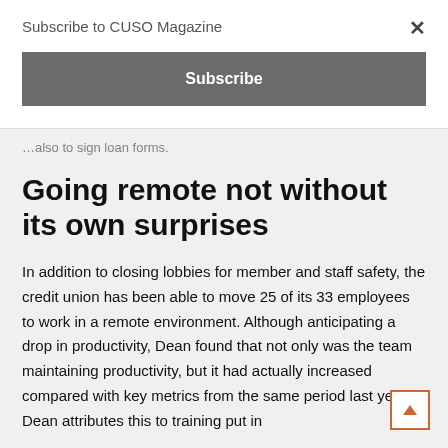Subscribe to CUSO Magazine
Subscribe
…also to sign loan forms.
Going remote not without its own surprises
In addition to closing lobbies for member and staff safety, the credit union has been able to move 25 of its 33 employees to work in a remote environment. Although anticipating a drop in productivity, Dean found that not only was the team maintaining productivity, but it had actually increased compared with key metrics from the same period last year. Dean attributes this to training put in place to staff attention…